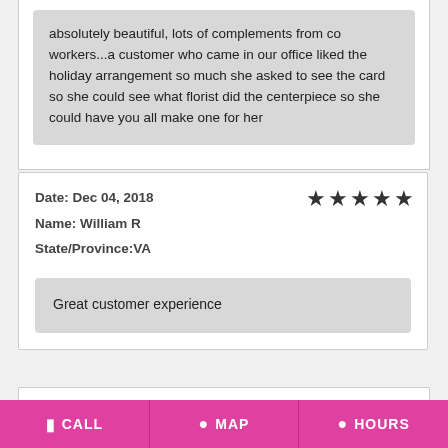absolutely beautiful, lots of complements from co workers...a customer who came in our office liked the holiday arrangement so much she asked to see the card so she could see what florist did the centerpiece so she could have you all make one for her
Date: Dec 04, 2018
Name: William R
State/Province:VA
Great customer experience
CALL  MAP  HOURS